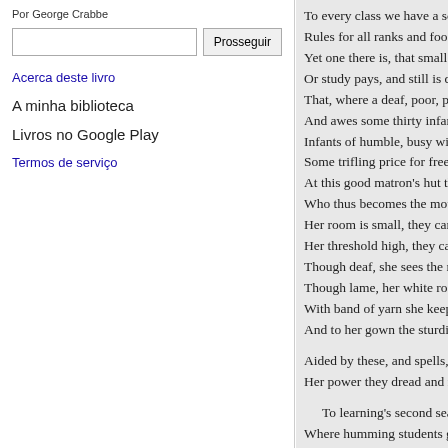Por George Crabbe
Prosseguir
Acerca deste livro
A minha biblioteca
Livros no Google Play
Termos de serviço
To every class we have a sc
Rules for all ranks and foo
Yet one there is, that small r
Or study pays, and still is de
That, where a deaf, poor, pa
And awes some thirty infan
Infants of humble, busy wi
Some trifling price for free
At this good matron's hut t
Who thus becomes the moth
Her room is small, they can
Her threshold high, they ca
Though deaf, she sees the re
Though lame, her white ro
With band of yarn she keep
And to her gown the sturdi

Aided by these, and spells,
Her power they dread and r

  To learning's second seat
Where humming students g
Or books with letters large a
To make their reading but a